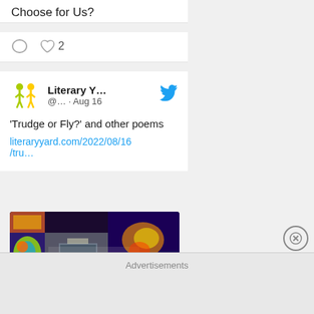Choose for Us?
♡ 2
Literary Y... @... · Aug 16
'Trudge or Fly?' and other poems literaryyard.com/2022/08/16/tru…
[Figure (photo): Colorful graffiti art covering walls of an urban alley with the text 'NOGISM' prominently visible]
Advertisements